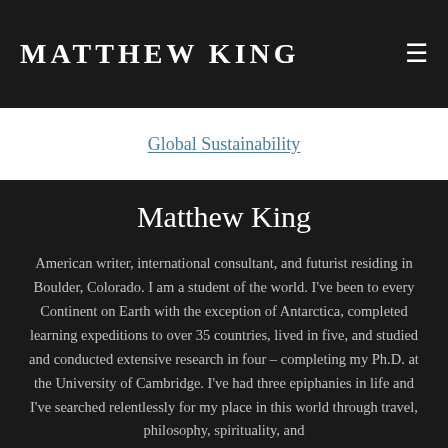MATTHEW KING
Global Sustainability
Matthew King
American writer, international consultant, and futurist residing in Boulder, Colorado. I am a student of the world. I've been to every Continent on Earth with the exception of Antarctica, completed learning expeditions to over 35 countries, lived in five, and studied and conducted extensive research in four – completing my Ph.D. at the University of Cambridge. I've had three epiphanies in life and I've searched relentlessly for my place in this world through travel, philosophy, spirituality, and